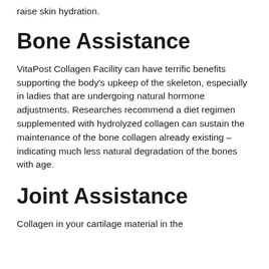raise skin hydration.
Bone Assistance
VitaPost Collagen Facility can have terrific benefits supporting the body's upkeep of the skeleton, especially in ladies that are undergoing natural hormone adjustments. Researches recommend a diet regimen supplemented with hydrolyzed collagen can sustain the maintenance of the bone collagen already existing – indicating much less natural degradation of the bones with age.
Joint Assistance
Collagen in your cartilage material in the